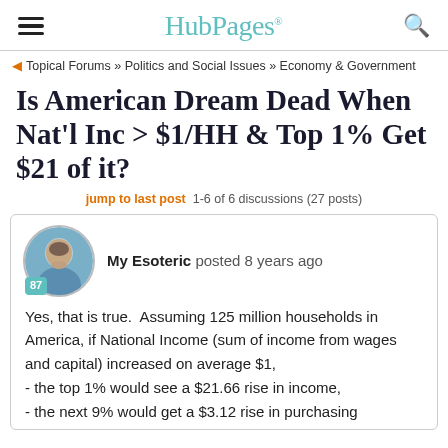HubPages
Topical Forums » Politics and Social Issues » Economy & Government
Is American Dream Dead When Nat'l Inc > $1/HH & Top 1% Get $21 of it?
jump to last post  1-6 of 6 discussions (27 posts)
My Esoteric posted 8 years ago
Yes, that is true.  Assuming 125 million households in America, if National Income (sum of income from wages and capital) increased on average $1,
- the top 1% would see a $21.66 rise in income,
- the next 9% would get a $3.12 rise in purchasing